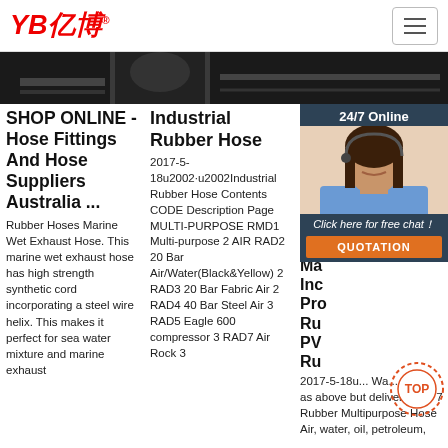YB亿博® [logo with hamburger menu]
[Figure (photo): Dark product banner image strip showing industrial hoses/fittings]
SHOP ONLINE - Hose Fittings And Hose Suppliers Australia ...
Rubber Hoses Marine Wet Exhaust Hose. This marine wet exhaust hose has high strength synthetic cord incorporating a steel wire helix. This makes it perfect for sea water mixture and marine exhaust
Industrial Rubber Hose
2017-5-18u2002·u2002Industrial Rubber Hose Contents CODE Description Page MULTI-PURPOSE RMD1 Multi-purpose 2 AIR RAD2 20 Bar Air/Water(Black&Yellow) 2 RAD3 20 Bar Fabric Air 2 RAD4 40 Bar Steel Air 3 RAD5 Eagle 600 compressor 3 RAD7 Air Rock 3
Ma... Inc... Pro... Ru... PV... Ru...
2017-5-18u... Wa... Same as above but delivery only 7 Rubber Multipurpose Hose Air, water, oil, petroleum, chemicals 8 Steam Hose Sat...
[Figure (photo): 24/7 Online chat support widget with customer service representative photo, Click here for free chat! and QUOTATION button]
[Figure (other): TOP navigation badge - orange dotted circular icon with TOP text]